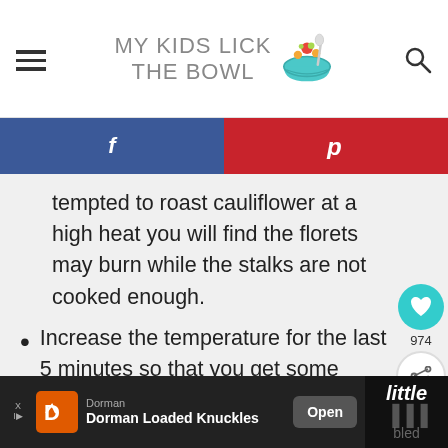MY KIDS LICK THE BOWL
tempted to roast cauliflower at a high heat you will find the florets may burn while the stalks are not cooked enough.
Increase the temperature for the last 5 minutes so that you get some great caramelsation happening.
Be liberal with the olive oil